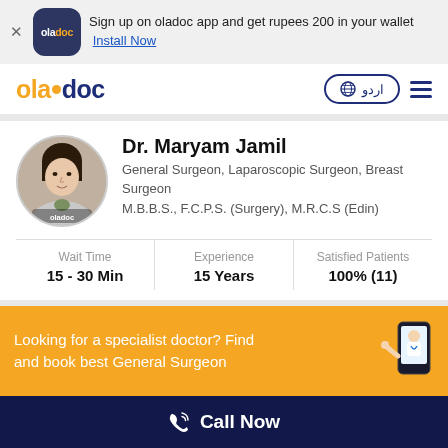Sign up on oladoc app and get rupees 200 in your wallet  Install Now
[Figure (logo): oladoc logo in navy blue rounded square]
[Figure (logo): oladoc navigation bar logo with orange dot]
اردو
[Figure (photo): Dr. Maryam Jamil circular profile photo]
Dr. Maryam Jamil
General Surgeon, Laparoscopic Surgeon, Breast Surgeon
M.B.B.S., F.C.P.S. (Surgery), M.R.C.S (Edin)
| Wait Time | Experience | Satisfied Patients |
| --- | --- | --- |
| 15 - 30 Min | 15 Years | 100% (11) |
Looking for a specialist doctor? Find and book best General Surgeon
Call Now